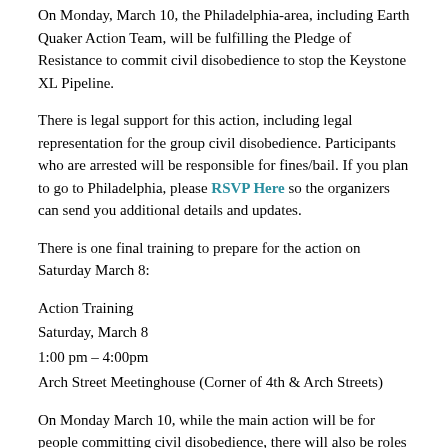On Monday, March 10, the Philadelphia-area, including Earth Quaker Action Team, will be fulfilling the Pledge of Resistance to commit civil disobedience to stop the Keystone XL Pipeline.
There is legal support for this action, including legal representation for the group civil disobedience. Participants who are arrested will be responsible for fines/bail. If you plan to go to Philadelphia, please RSVP Here so the organizers can send you additional details and updates.
There is one final training to prepare for the action on Saturday March 8:
Action Training
Saturday, March 8
1:00 pm – 4:00pm
Arch Street Meetinghouse (Corner of 4th & Arch Streets)
On Monday March 10, while the main action will be for people committing civil disobedience, there will also be roles for people not risking arrest to go and support those participating in the action.